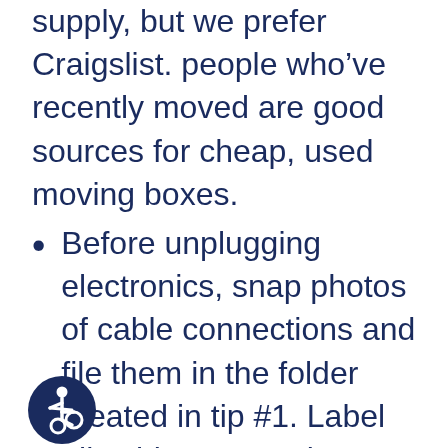supply, but we prefer Craigslist. people who've recently moved are good sources for cheap, used moving boxes.
Before unplugging electronics, snap photos of cable connections and file them in the folder created in tip #1. Label all cables so you know which goes with which device.
If you're moving out of town, arrange for dental, medical and vision care records to be transferred to your new healthcare providers. Even if you haven't secured new doctors, it's smart to
[Figure (illustration): Accessibility icon — a circular dark navy badge with a wheelchair user symbol in white]